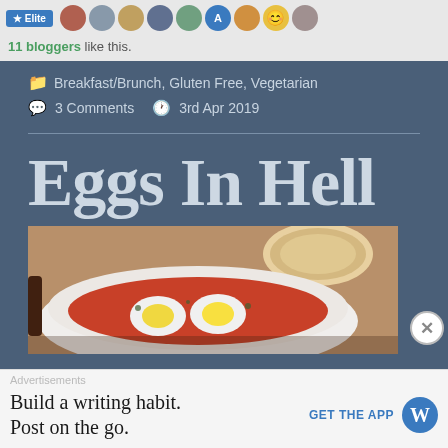[Figure (screenshot): Top bar with Like button and avatar strip of blogger profile photos]
11 bloggers like this.
Breakfast/Brunch, Gluten Free, Vegetarian
3 Comments    3rd Apr 2019
Eggs In Hell
[Figure (photo): Close-up food photo of eggs in tomato sauce (shakshuka) in a white bowl with bread on a wooden surface]
Advertisements
Build a writing habit.
Post on the go.
GET THE APP